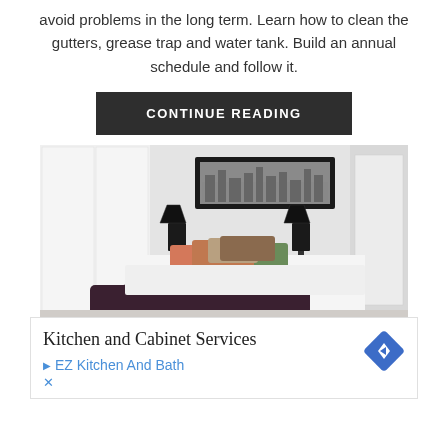avoid problems in the long term. Learn how to clean the gutters, grease trap and water tank. Build an annual schedule and follow it.
CONTINUE READING
[Figure (photo): A modern bedroom with white walls, a bed with colorful pillows and dark throw blanket, two black lamps, and a framed cityscape artwork above the headboard.]
Kitchen and Cabinet Services
EZ Kitchen And Bath